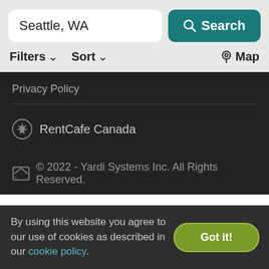Seattle, WA
Search
Filters
Sort
Map
Privacy Policy
RentCafe Canada
© 2022 - Yardi Systems Inc. All Rights Reserved.
By using this website you agree to our use of cookies as described in our cookie policy.
Got it!